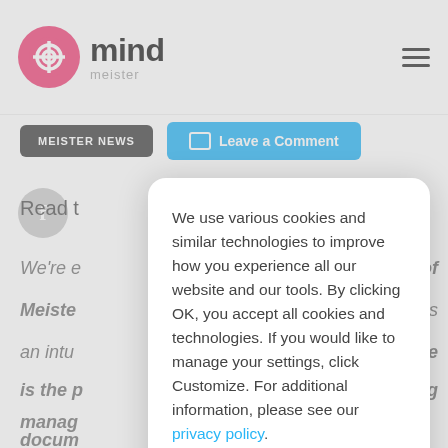[Figure (logo): MindMeister logo — pink circle with overlapping rings icon, followed by 'mind' in bold dark text and 'meister' in light gray below]
[Figure (other): Hamburger menu icon (three horizontal lines) in top-right corner]
[Figure (screenshot): Background webpage content: MEISTER NEWS button (dark), Leave a Comment button (blue), Facebook circle icon, partial italic body text snippets]
We use various cookies and similar technologies to improve how you experience all our website and our tools. By clicking OK, you accept all cookies and technologies. If you would like to manage your settings, click Customize. For additional information, please see our privacy policy.
Customize
OK